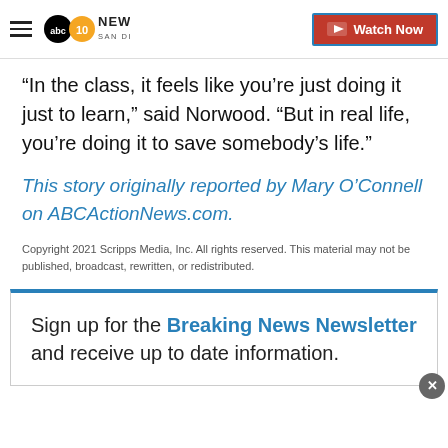10News San Diego — Watch Now
“In the class, it feels like you’re just doing it just to learn,” said Norwood. “But in real life, you’re doing it to save somebody’s life.”
This story originally reported by Mary O’Connell on ABCActionNews.com.
Copyright 2021 Scripps Media, Inc. All rights reserved. This material may not be published, broadcast, rewritten, or redistributed.
Sign up for the Breaking News Newsletter and receive up to date information.